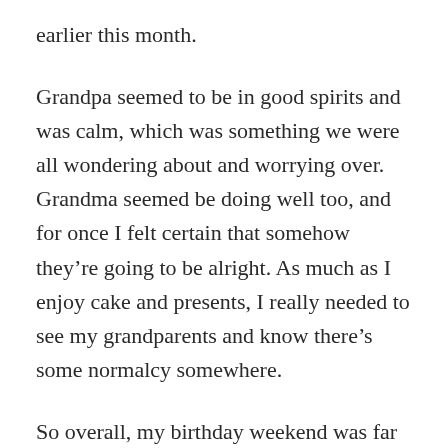earlier this month.
Grandpa seemed to be in good spirits and was calm, which was something we were all wondering about and worrying over. Grandma seemed be doing well too, and for once I felt certain that somehow they’re going to be alright. As much as I enjoy cake and presents, I really needed to see my grandparents and know there’s some normalcy somewhere.
So overall, my birthday weekend was far better than I expected or even imagined. And I’m beyond grateful for it.